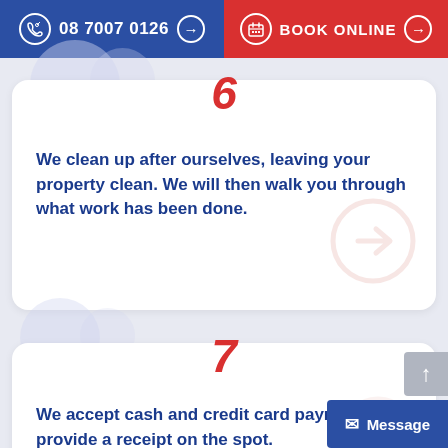08 7007 0126  BOOK ONLINE
6
We clean up after ourselves, leaving your property clean. We will then walk you through what work has been done.
7
We accept cash and credit card payments and provide a receipt on the spot.